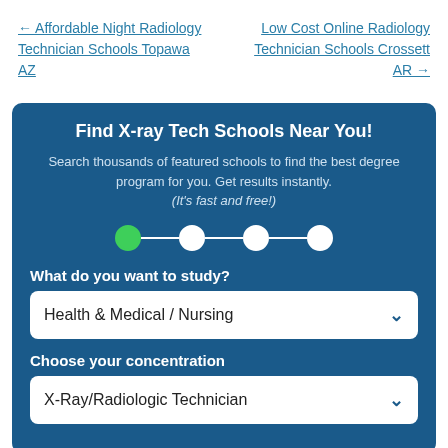← Affordable Night Radiology Technician Schools Topawa AZ
Low Cost Online Radiology Technician Schools Crossett AR →
Find X-ray Tech Schools Near You!
Search thousands of featured schools to find the best degree program for you. Get results instantly. (It's fast and free!)
[Figure (infographic): Step progress indicator with 4 circles connected by lines. First circle is filled green (active), remaining three are white.]
What do you want to study?
Health & Medical / Nursing
Choose your concentration
X-Ray/Radiologic Technician